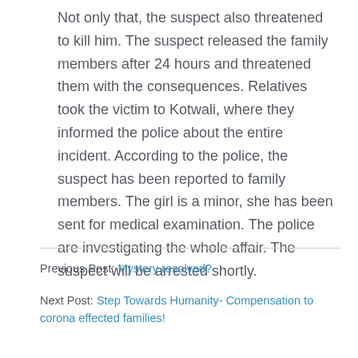Not only that, the suspect also threatened to kill him. The suspect released the family members after 24 hours and threatened them with the consequences. Relatives took the victim to Kotwali, where they informed the police about the entire incident. According to the police, the suspect has been reported to family members. The girl is a minor, she has been sent for medical examination. The police are investigating the whole affair. The suspect will be arrested shortly.
Previous Post: Mystery resolved?
Next Post: Step Towards Humanity- Compensation to corona effected families!